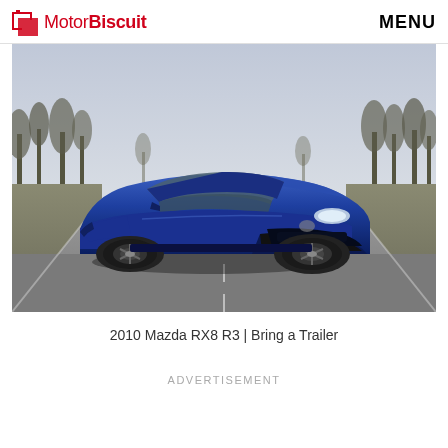MotorBiscuit  MENU
[Figure (photo): A blue 2010 Mazda RX8 R3 sports car photographed from a front three-quarter angle on an empty road, with bare winter trees in the background.]
2010 Mazda RX8 R3 | Bring a Trailer
ADVERTISEMENT